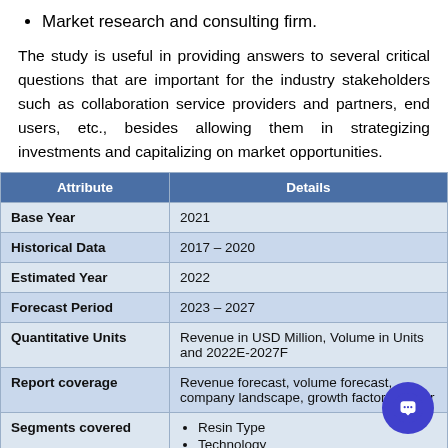Market research and consulting firm.
The study is useful in providing answers to several critical questions that are important for the industry stakeholders such as collaboration service providers and partners, end users, etc., besides allowing them in strategizing investments and capitalizing on market opportunities.
| Attribute | Details |
| --- | --- |
| Base Year | 2021 |
| Historical Data | 2017 – 2020 |
| Estimated Year | 2022 |
| Forecast Period | 2023 – 2027 |
| Quantitative Units | Revenue in USD Million, Volume in Units and 2022E-2027F |
| Report coverage | Revenue forecast, volume forecast, company landscape, growth factors, and tr… |
| Segments covered | • Resin Type
• Technology |